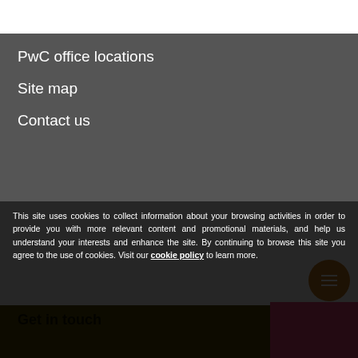PwC office locations
Site map
Contact us
This site uses cookies to collect information about your browsing activities in order to provide you with more relevant content and promotional materials, and help us understand your interests and enhance the site. By continuing to browse this site you agree to the use of cookies. Visit our cookie policy to learn more.
[Figure (logo): PwC logo with bar chart icon]
© 2017 - 2022 PwC. All rights reserved. PwC refers to the PwC network and/or one or more of its member firms, each of which is a separate legal entity. Please see
Get in touch